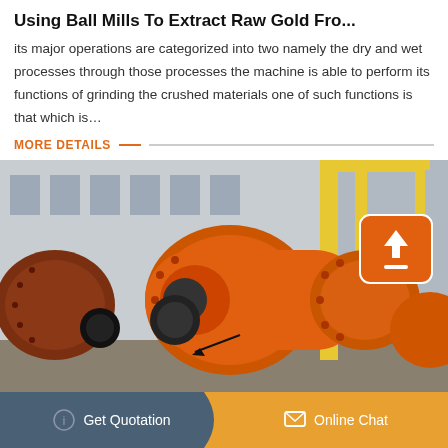Using Ball Mills To Extract Raw Gold Fro…
its major operations are categorized into two namely the dry and wet processes through those processes the machine is able to perform its functions of grinding the crushed materials one of such functions is that which is…
MORE DETAILS
[Figure (photo): Industrial orange ball mills in a factory setting with yellow cranes in the background. Large cylindrical grinding machines are prominently displayed.]
Get Quotation
Online Chat